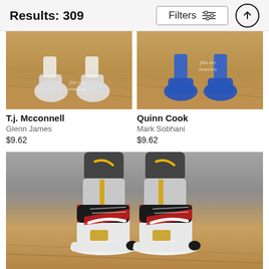Results: 309
Filters
[Figure (photo): Basketball court floor close-up showing player feet in white sneakers with white socks, watermark 'fine art america']
[Figure (photo): Basketball court floor close-up showing player legs in blue sneakers and blue socks, watermark 'fine art america']
T.j. Mcconnell
Glenn James
$9.62
Quinn Cook
Mark Sobhani
$9.62
[Figure (photo): Close-up of athlete's feet wearing Nike LeBron basketball shoes (white, black, red, gold colorway) with Nike Elite socks featuring gold swoosh on gray/dark cuff, standing on basketball court hardwood floor]